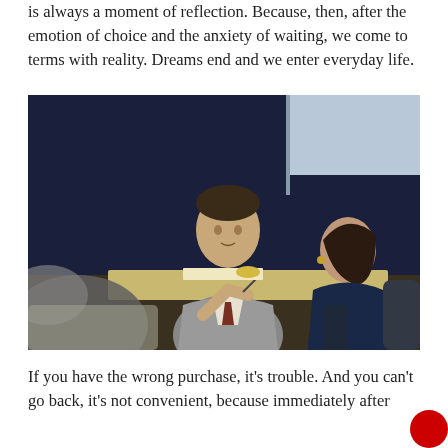is always a moment of reflection. Because, then, after the emotion of choice and the anxiety of waiting, we come to terms with reality. Dreams end and we enter everyday life.
[Figure (photo): A man in a grey suit speaking with a woman across a table, inside what appears to be a car dealership with a dark blue background.]
If you have the wrong purchase, it's trouble. And you can't go back, it's not convenient, because immediately after